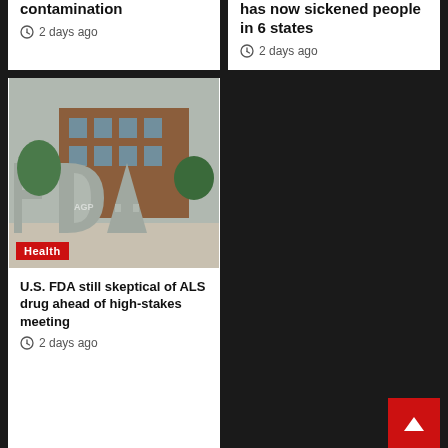contamination
2 days ago
has now sickened people in 6 states
2 days ago
[Figure (photo): FDA building sign with large FDA letters outdoors, brick building in background. Health category badge in bottom-left corner.]
U.S. FDA still skeptical of ALS drug ahead of high-stakes meeting
2 days ago